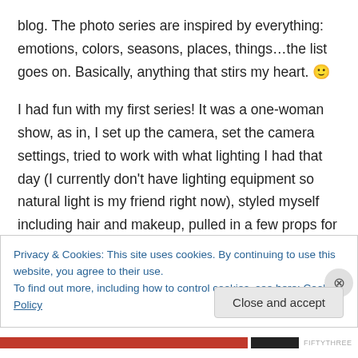blog. The photo series are inspired by everything: emotions, colors, seasons, places, things…the list goes on. Basically, anything that stirs my heart. 🙂

I had fun with my first series! It was a one-woman show, as in, I set up the camera, set the camera settings, tried to work with what lighting I had that day (I currently don't have lighting equipment so natural light is my friend right now), styled myself including hair and makeup, pulled in a few props for some extra fun and did the photo post-production work.*I do want to give my hubby credit for
Privacy & Cookies: This site uses cookies. By continuing to use this website, you agree to their use.
To find out more, including how to control cookies, see here: Cookie Policy